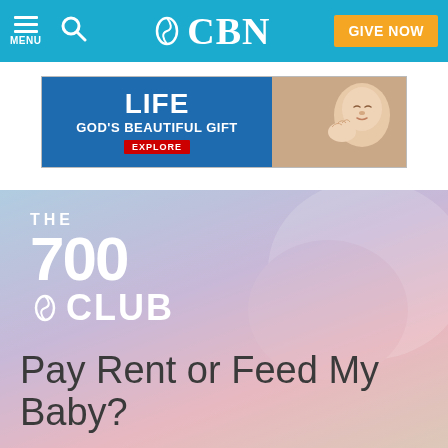CBN — MENU | Search | GIVE NOW
[Figure (other): Advertisement banner: LIFE GOD'S BEAUTIFUL GIFT EXPLORE — with baby photo]
[Figure (logo): The 700 Club logo in white on gradient sky background]
Pay Rent or Feed My Baby?